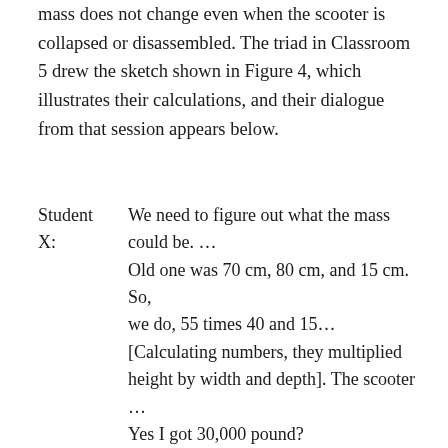mass does not change even when the scooter is collapsed or disassembled. The triad in Classroom 5 drew the sketch shown in Figure 4, which illustrates their calculations, and their dialogue from that session appears below.
Student X:  We need to figure out what the mass could be. ...
  Old one was 70 cm, 80 cm, and 15 cm. So, we do, 55 times 40 and 15...
  [Calculating numbers, they multiplied height by width and depth]. The scooter ... Yes I got 30,000 pound?
Student Y:  Pound? It is mass.
Student  It would be gram?